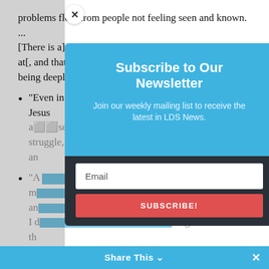problems flow from people not feeling seen and known. ... [There is a] core ... trait that we all have to get ... better at[, and that] is the trait of seeing each other deeply and being deeply seen.'”
“Even in our busy lives, we can follow the example of Jesus a[nd] see individuals—their needs, their faith, their struggle, an[d their joy]
“A[s we follow the example of Jesus, we] m[ake] [connect]ions an[d come to know each other. The question] t am I d[oing] th[is?]
“A[ ... ] de[eper] ... [w]e o[ffer] ... [t]he [gift of being known to each other,] with in[timacy and genuine connection] t, and af[ter all]… [s]
[Figure (other): Newsletter subscription modal overlay with blue header saying 'Subscribe to Our Newsletter', subtitle 'Join our weekly mailing list to receive the latest in LDS News.', email input field, and subscribe button. There is also a close (X) button and a blue 'Share This' bar at the bottom.]